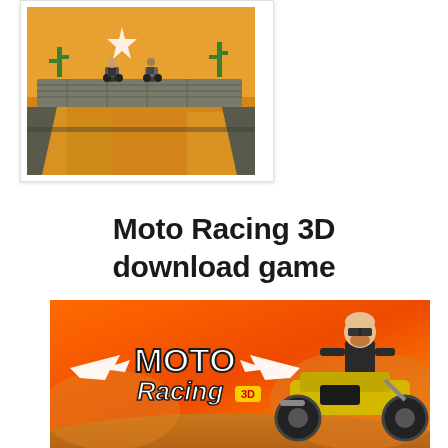[Figure (screenshot): Top-down 3D game screenshot showing two motorcyclists on a rocky bridge over a desert canyon with cacti and orange sand background]
Moto Racing 3D download game
[Figure (illustration): Promotional banner for Moto Racing 3D game featuring a bearded cartoon character riding a yellow motorbike against an orange/red gradient background with winged MOTO Racing 3D logo]